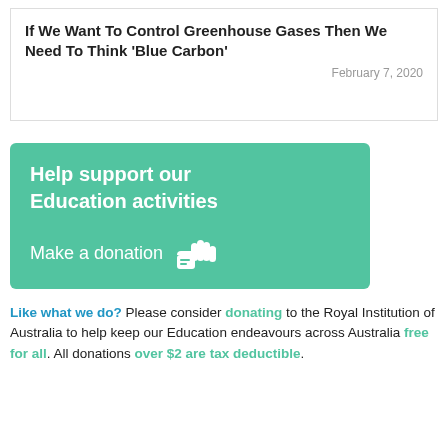If We Want To Control Greenhouse Gases Then We Need To Think ‘Blue Carbon’
February 7, 2020
[Figure (other): Green donation banner reading 'Help support our Education activities' and 'Make a donation' with a hand/money icon]
Like what we do? Please consider donating to the Royal Institution of Australia to help keep our Education endeavours across Australia free for all. All donations over $2 are tax deductible.